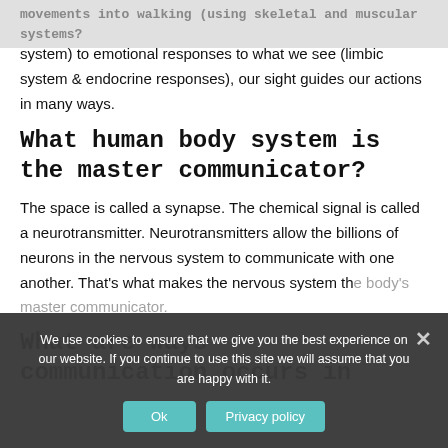movements into walking (using skeletal and muscular systems?
system) to emotional responses to what we see (limbic system & endocrine responses), our sight guides our actions in many ways.
What human body system is the master communicator?
The space is called a synapse. The chemical signal is called a neurotransmitter. Neurotransmitters allow the billions of neurons in the nervous system to communicate with one another. That's what makes the nervous system the body's master communicator.
What are ways communication occurs in
We use cookies to ensure that we give you the best experience on our website. If you continue to use this site we will assume that you are happy with it.